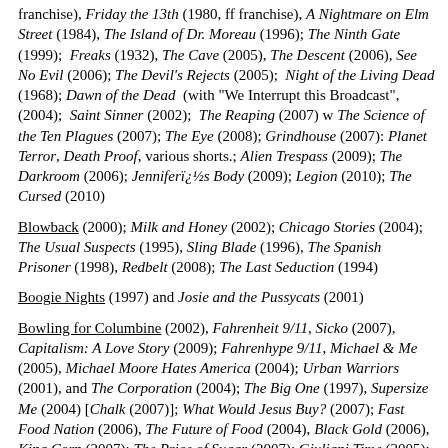franchise), Friday the 13th (1980, ff franchise), A Nightmare on Elm Street (1984), The Island of Dr. Moreau (1996); The Ninth Gate (1999);  Freaks (1932), The Cave (2005), The Descent (2006), See No Evil (2006); The Devil's Rejects (2005);  Night of the Living Dead (1968); Dawn of the Dead  (with "We Interrupt this Broadcast", (2004);  Saint Sinner (2002);  The Reaping (2007) w The Science of the Ten Plagues (2007); The Eye (2008); Grindhouse (2007): Planet Terror, Death Proof, various shorts.; Alien Trespass (2009); The Darkroom (2006); Jenniferï¿½s Body (2009); Legion (2010); The Cursed (2010)
Blowback (2000); Milk and Honey (2002); Chicago Stories (2004); The Usual Suspects (1995), Sling Blade (1996), The Spanish Prisoner (1998), Redbelt (2008); The Last Seduction (1994)
Boogie Nights (1997) and Josie and the Pussycats (2001)
Bowling for Columbine (2002), Fahrenheit 9/11, Sicko (2007), Capitalism: A Love Story (2009); Fahrenhype 9/11, Michael & Me (2005), Michael Moore Hates America (2004); Urban Warriors (2001), and The Corporation (2004); The Big One (1997), Supersize Me (2004) [Chalk (2007)]; What Would Jesus Buy? (2007); Fast Food Nation (2006), The Future of Food (2004), Black Gold (2006), King Corn (2007); The Price of Sugar (2007); Giuliani Time (2005); CNN: Health Care: Critical Condition